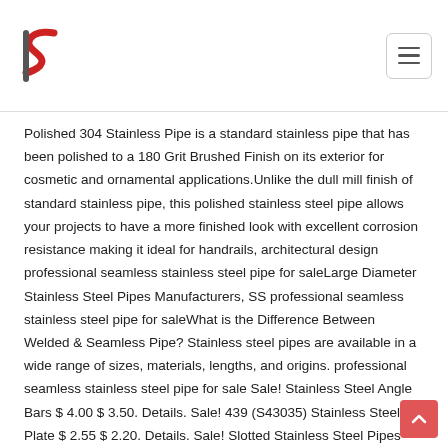Logo and navigation header
Polished 304 Stainless Pipe is a standard stainless pipe that has been polished to a 180 Grit Brushed Finish on its exterior for cosmetic and ornamental applications.Unlike the dull mill finish of standard stainless pipe, this polished stainless steel pipe allows your projects to have a more finished look with excellent corrosion resistance making it ideal for handrails, architectural design professional seamless stainless steel pipe for saleLarge Diameter Stainless Steel Pipes Manufacturers, SS professional seamless stainless steel pipe for saleWhat is the Difference Between Welded & Seamless Pipe? Stainless steel pipes are available in a wide range of sizes, materials, lengths, and origins. professional seamless stainless steel pipe for sale Sale! Stainless Steel Angle Bars $ 4.00 $ 3.50. Details. Sale! 439 (S43035) Stainless Steel Plate $ 2.55 $ 2.20. Details. Sale! Slotted Stainless Steel Pipes Large Diameter Stainless Steel Pipes Manufacturers, SS professional seamless stainless steel pipe for saleWhat is the Difference Between Welded &